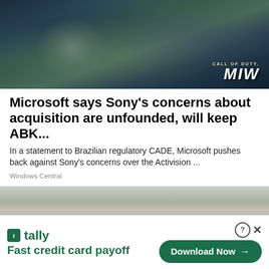[Figure (photo): Call of Duty Modern Warfare soldiers in tactical gear with weapons, dark atmospheric image with CALL OF DUTY MW logo in bottom right corner]
Microsoft says Sony's concerns about acquisition are unfounded, will keep ABK...
In a statement to Brazilian regulatory CADE, Microsoft pushes back against Sony's concerns over the Activision ...
Windows Central
[Figure (photo): Arid desert landscape with industrial buildings and wind turbines in background]
[Figure (other): Tally advertisement banner: Fast credit card payoff with Download Now button]